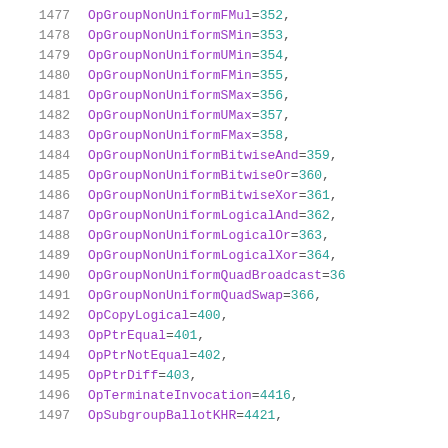1477  OpGroupNonUniformFMul = 352,
1478  OpGroupNonUniformSMin = 353,
1479  OpGroupNonUniformUMin = 354,
1480  OpGroupNonUniformFMin = 355,
1481  OpGroupNonUniformSMax = 356,
1482  OpGroupNonUniformUMax = 357,
1483  OpGroupNonUniformFMax = 358,
1484  OpGroupNonUniformBitwiseAnd = 359,
1485  OpGroupNonUniformBitwiseOr = 360,
1486  OpGroupNonUniformBitwiseXor = 361,
1487  OpGroupNonUniformLogicalAnd = 362,
1488  OpGroupNonUniformLogicalOr = 363,
1489  OpGroupNonUniformLogicalXor = 364,
1490  OpGroupNonUniformQuadBroadcast = 36
1491  OpGroupNonUniformQuadSwap = 366,
1492  OpCopyLogical = 400,
1493  OpPtrEqual = 401,
1494  OpPtrNotEqual = 402,
1495  OpPtrDiff = 403,
1496  OpTerminateInvocation = 4416,
1497  OpSubgroupBallotKHR = 4421,